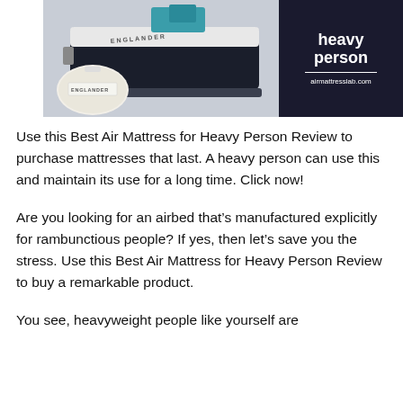[Figure (photo): An Englander air mattress with a branded carry bag (left) and a dark navy banner with bold white text reading 'heavy person' and 'airmattresslab.com' (right)]
Use this Best Air Mattress for Heavy Person Review to purchase mattresses that last. A heavy person can use this and maintain its use for a long time. Click now!
Are you looking for an airbed that’s manufactured explicitly for rambunctious people? If yes, then let’s save you the stress. Use this Best Air Mattress for Heavy Person Review to buy a remarkable product.
You see, heavyweight people like yourself are